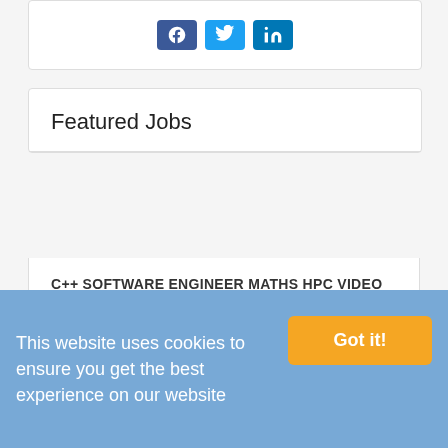[Figure (other): Social media share buttons: Facebook (blue), Twitter (light blue), LinkedIn (dark blue)]
Featured Jobs
C++ SOFTWARE ENGINEER MATHS HPC VIDEO
Location: London, Greater London
£45,000 - £60,000 per year
DATA ARCHITECT / DATA MODELER
Location: London, Greater London
£750 per day
This website uses cookies to ensure you get the best experience on our website